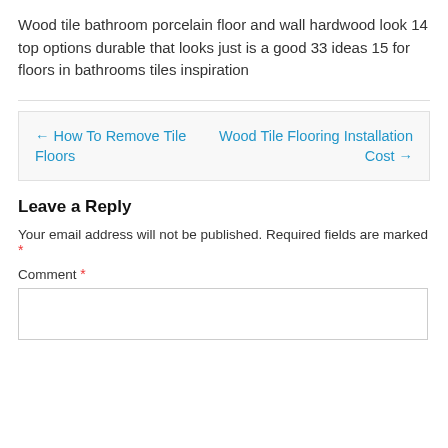Wood tile bathroom porcelain floor and wall hardwood look 14 top options durable that looks just is a good 33 ideas 15 for floors in bathrooms tiles inspiration
← How To Remove Tile Floors
Wood Tile Flooring Installation Cost →
Leave a Reply
Your email address will not be published. Required fields are marked *
Comment *